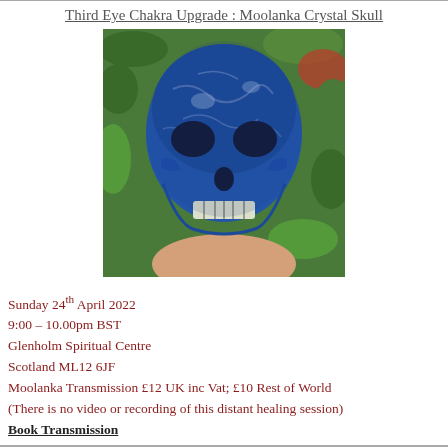Third Eye Chakra Upgrade : Moolanka Crystal Skull
[Figure (photo): A hand holding a large blue lapis lazuli crystal skull carving, photographed against a green leafy background with some red flowers visible.]
Sunday 24th April 2022
9:00 – 10.00pm BST
Glenholm Spiritual Centre
Scotland ML12 6JF
Moolanka Transmission £12 UK inc Vat; £10 Rest of World
(There is no video or recording of this distant healing session)
Book Transmission
Merlin Wizard Transmission : Freeing from Obligations